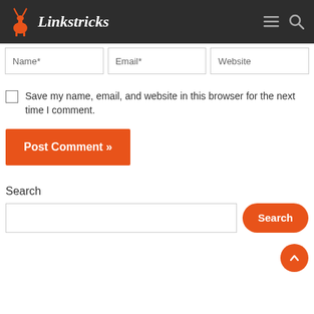Linkstricks
Name*   Email*   Website
Save my name, email, and website in this browser for the next time I comment.
Post Comment »
Search
Search